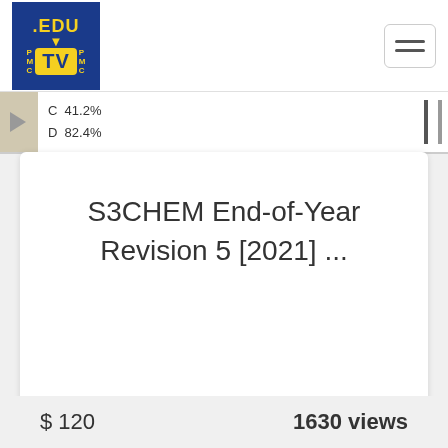[Figure (logo): PMC .EDU TV logo — dark blue background with yellow '.EDU' text, downward arrow, and 'TV' in a yellow box with 'PMC' on each side]
[Figure (screenshot): Partial thumbnail strip showing 'C 41.2%' and 'D 82.4%' text and vertical bars on right side]
S3CHEM End-of-Year Revision 5 [2021] ...
$ 120
1630 views